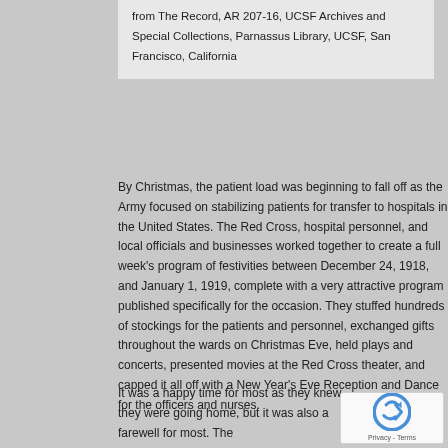from The Record, AR 207-16, UCSF Archives and Special Collections, Parnassus Library, UCSF, San Francisco, California
By Christmas, the patient load was beginning to fall off as the Army focused on stabilizing patients for transfer to hospitals in the United States. The Red Cross, hospital personnel, and local officials and businesses worked together to create a full week's program of festivities between December 24, 1918, and January 1, 1919, complete with a very attractive program published specifically for the occasion. They stuffed hundreds of stockings for the patients and personnel, exchanged gifts throughout the wards on Christmas Eve, held plays and concerts, presented movies at the Red Cross theater, and capped it all off with a New Year's Eve Reception and Dance for the officers and nurses.
It was a happy time for most as they knew they were going home, but it was also a farewell for most. The